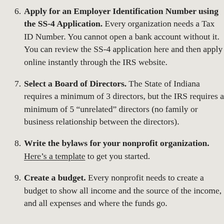6. Apply for an Employer Identification Number using the SS-4 Application. Every organization needs a Tax ID Number. You cannot open a bank account without it. You can review the SS-4 application here and then apply online instantly through the IRS website.
7. Select a Board of Directors. The State of Indiana requires a minimum of 3 directors, but the IRS requires a minimum of 5 “unrelated” directors (no family or business relationship between the directors).
8. Write the bylaws for your nonprofit organization. Here’s a template to get you started.
9. Create a budget. Every nonprofit needs to create a budget to show all income and the source of the income, and all expenses and where the funds go.